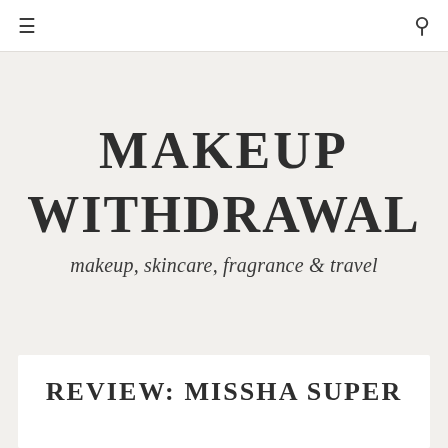☰  🔍
MAKEUP
WITHDRAWAL
makeup, skincare, fragrance & travel
REVIEW: MISSHA SUPER